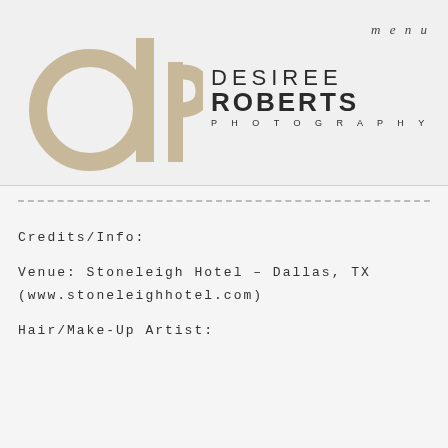[Figure (logo): Desiree Roberts Photography logo with stylized 'dr' monogram in tan/beige and text DESIREE ROBERTS PHOTOGRAPHY]
menu
================================================================
Credits/Info:
Venue: Stoneleigh Hotel – Dallas, TX
(www.stoneleighhotel.com)
Hair/Make-Up Artist: